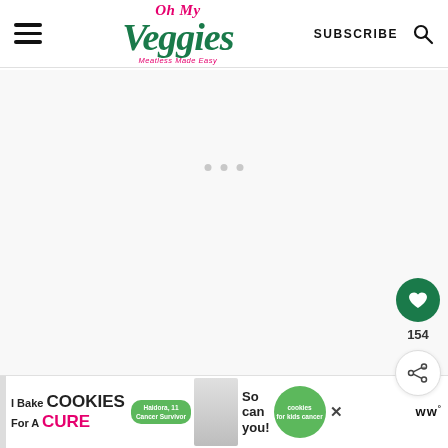Oh My Veggies - Meatless Made Easy | SUBSCRIBE
[Figure (other): Loading spinner with three grey dots indicating content loading]
[Figure (other): Heart/favorite button showing 154 saves, and a share button]
[Figure (other): Advertisement banner: I Bake COOKIES For A CURE - Haidora, 11 Cancer Survivor - So can you! - cookies for kids cancer]